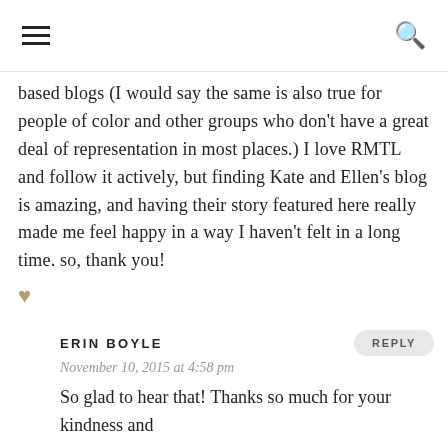[hamburger menu] [search icon]
based blogs (I would say the same is also true for people of color and other groups who don't have a great deal of representation in most places.) I love RMTL and follow it actively, but finding Kate and Ellen's blog is amazing, and having their story featured here really made me feel happy in a way I haven't felt in a long time. so, thank you! ♥
ERIN BOYLE
November 10, 2015 at 4:58 pm
So glad to hear that! Thanks so much for your kindness and